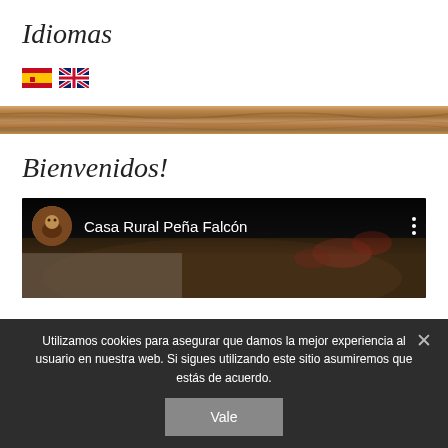Idiomas
[Figure (illustration): Spanish flag and UK flag icons side by side]
[Figure (photo): Decorative wood-grain horizontal divider bar]
Bienvenidos!
[Figure (screenshot): Video embed showing 'Casa Rural Peña Falcón' with avatar and nature background]
Utilizamos cookies para asegurar que damos la mejor experiencia al usuario en nuestra web. Si sigues utilizando este sitio asumiremos que estás de acuerdo.
Vale